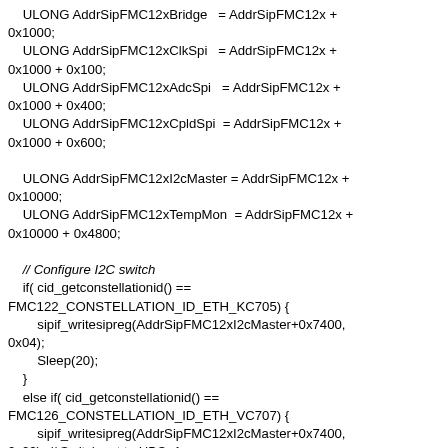ULONG AddrSipFMC12xBridge = AddrSipFMC12x + 0x1000;
    ULONG AddrSipFMC12xClkSpi = AddrSipFMC12x + 0x1000 + 0x100;
    ULONG AddrSipFMC12xAdcSpi = AddrSipFMC12x + 0x1000 + 0x400;
    ULONG AddrSipFMC12xCpldSpi = AddrSipFMC12x + 0x1000 + 0x600;

    ULONG AddrSipFMC12xI2cMaster = AddrSipFMC12x + 0x10000;
    ULONG AddrSipFMC12xTempMon = AddrSipFMC12x + 0x10000 + 0x4800;

    // Configure I2C switch
    if( cid_getconstellationid() == FMC122_CONSTELLATION_ID_ETH_KC705) {
        sipif_writesipreg(AddrSipFMC12xI2cMaster+0x7400, 0x04);
        Sleep(20);
    }
    else if( cid_getconstellationid() == FMC126_CONSTELLATION_ID_ETH_VC707) {
        sipif_writesipreg(AddrSipFMC12xI2cMaster+0x7400, 0x02); // Switch set to HPC_1
        Sleep(20);
    }
    .
    .
    .